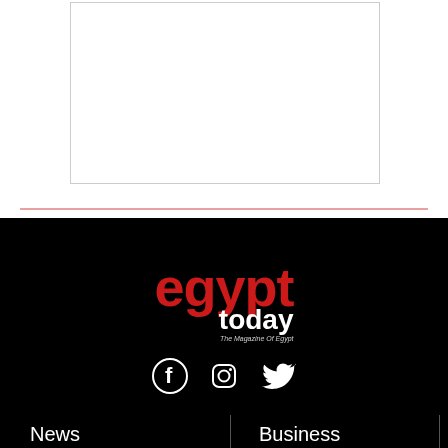[Figure (other): White rectangular image/ad placeholder with thin gray border]
[Figure (logo): Egypt Today magazine logo — 'egypt' in large red bold text, 'today' in white bold text below, with tagline 'The Magazine Of Egypt']
[Figure (other): Social media icons: Facebook, Instagram, Twitter in white on black background]
News   |   Business   |